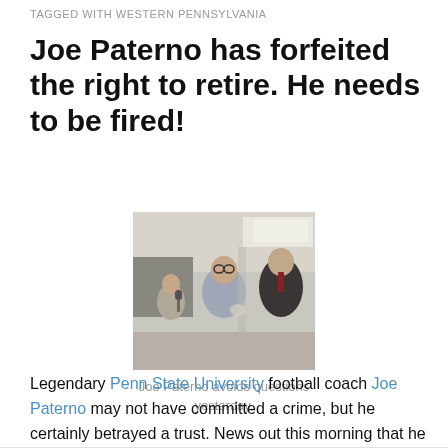TAGGED WITH WESTERN PENNSYLVANIA
Joe Paterno has forfeited the right to retire. He needs to be fired!
[Figure (photo): Joe Paterno walking with others, appears to be avoiding press questions]
Joe Paterno avoids questions yesterday.
Legendary Penn State University football coach Joe Paterno may not have committed a crime, but he certainly betrayed a trust. News out this morning that he has